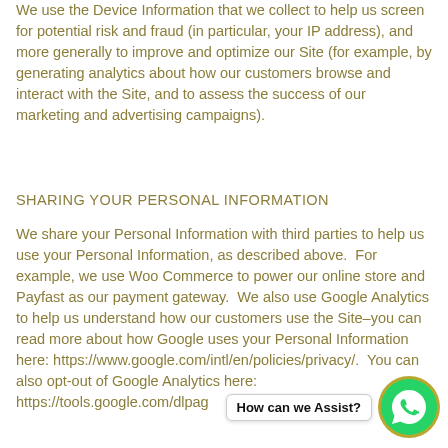We use the Device Information that we collect to help us screen for potential risk and fraud (in particular, your IP address), and more generally to improve and optimize our Site (for example, by generating analytics about how our customers browse and interact with the Site, and to assess the success of our marketing and advertising campaigns).
SHARING YOUR PERSONAL INFORMATION
We share your Personal Information with third parties to help us use your Personal Information, as described above.  For example, we use Woo Commerce to power our online store and Payfast as our payment gateway.  We also use Google Analytics to help us understand how our customers use the Site–you can read more about how Google uses your Personal Information here: https://www.google.com/intl/en/policies/privacy/.  You can also opt-out of Google Analytics here: https://tools.google.com/dlpag
[Figure (other): WhatsApp chat widget with green phone icon and 'How can we Assist?' label]